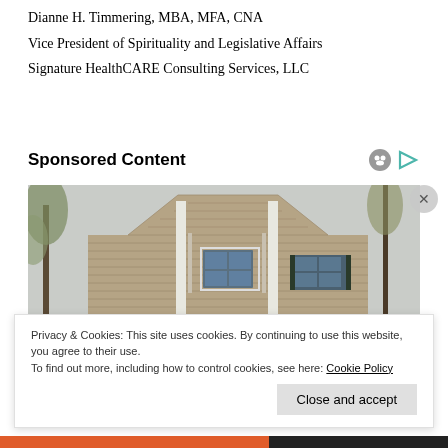Dianne H. Timmering, MBA, MFA, CNA
Vice President of Spirituality and Legislative Affairs
Signature HealthCARE Consulting Services, LLC
Sponsored Content
[Figure (photo): Exterior of a house with tan vinyl siding, white trim columns, a peaked gable, windows with dark shutters, and bare trees on either side against an overcast sky.]
Privacy & Cookies: This site uses cookies. By continuing to use this website, you agree to their use.
To find out more, including how to control cookies, see here: Cookie Policy
Close and accept